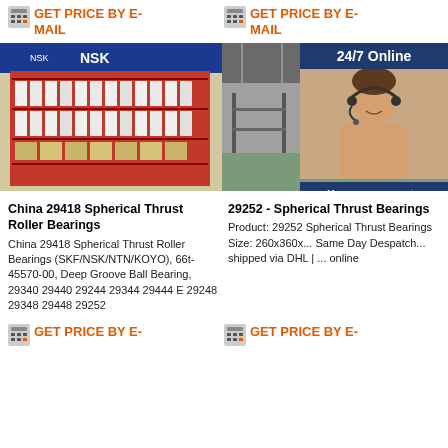GET PRICE BY E-MAIL
GET PRICE BY E-MAIL
[Figure (photo): NSK bearing products on red shelving unit in a warehouse store]
[Figure (photo): Large warehouse interior with high ceiling and shelving]
[Figure (infographic): 24/7 Online customer service representative with headset, with Have any requests click here and Quotation overlay]
China 29418 Spherical Thrust Roller Bearings
China 29418 Spherical Thrust Roller Bearings (SKF/NSK/NTN/KOYO), 66t-45570-00, Deep Groove Ball Bearing, 29340 29440 29244 29344 29444 E 29248 29348 29448 29252
29252 - Spherical Thrust Bearings
Product: 29252 Spherical Thrust Bearings Size: 260x360x... Same Day Despatch... shipped via DHL | ... online
GET PRICE BY E-
GET PRICE BY E-